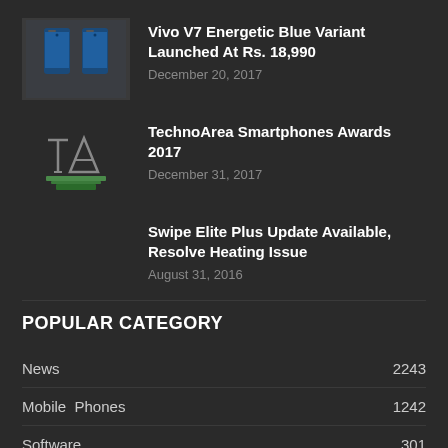Vivo V7 Energetic Blue Variant Launched At Rs. 18,990
December 20, 2017
TechnoArea Smartphones Awards 2017
December 31, 2017
Swipe Elite Plus Update Available, Resolve Heating Issue
August 31, 2016
POPULAR CATEGORY
| Category | Count |
| --- | --- |
| News | 2243 |
| Mobile Phones | 1242 |
| Software | 301 |